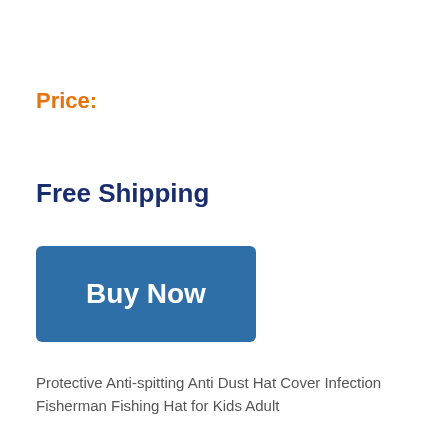Price:
Free Shipping
[Figure (other): Buy Now button - a large blue rectangular button with white bold text 'Buy Now']
Protective Anti-spitting Anti Dust Hat Cover Infection Fisherman Fishing Hat for Kids Adult